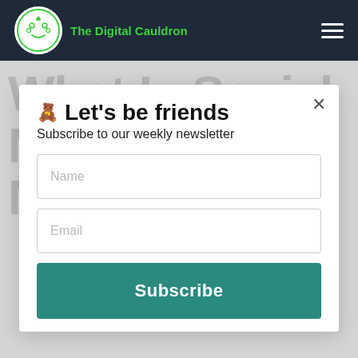The Digital Cauldron
What Is Social Media Marketing?
HOME · DIGITAL MARKETING
WHAT IS SOCIAL MEDIA MARKETING?
🧸 Let's be friends
Subscribe to our weekly newsletter
Name
Email
Subscribe